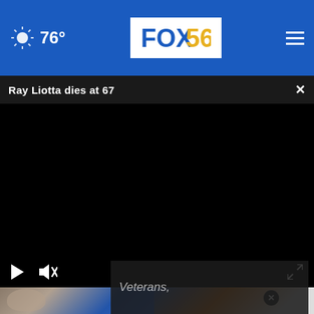76° FOX56
Ray Liotta dies at 67
[Figure (screenshot): Black video player area with playback controls at bottom: play button, mute button, fullscreen button]
[Figure (photo): Two thumbnail images side by side at bottom: left shows a man's face with blue background, right shows a woman sitting at a table with a close button overlay]
Veterans,